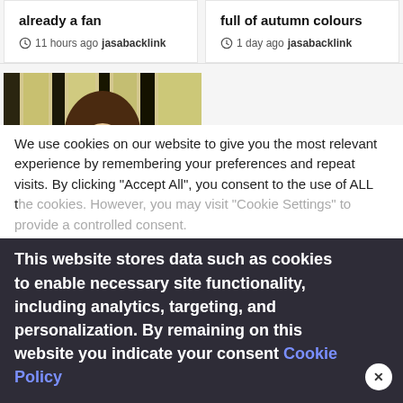already a fan
11 hours ago jasabacklink
full of autumn colours
1 day ago jasabacklink
[Figure (photo): Woman with long brown hair smiling, touching her face, wearing white top, against striped background]
We use cookies on our website to give you the most relevant experience by remembering your preferences and repeat visits. By clicking "Accept All", you consent to the use of ALL the cookies. However, you may visit "Cookie Settings" to provide a controlled consent.
This website stores data such as cookies to enable necessary site functionality, including analytics, targeting, and personalization. By remaining on this website you indicate your consent Cookie Policy